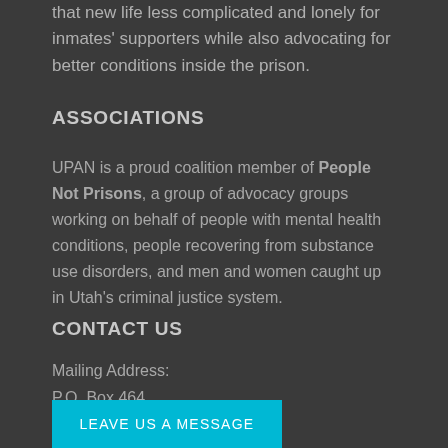that new life less complicated and lonely for inmates' supporters while also advocating for better conditions inside the prison.
ASSOCIATIONS
UPAN is a proud coalition member of People Not Prisons, a group of advocacy groups working on behalf of people with mental health conditions, people recovering from substance use disorders, and men and women caught up in Utah's criminal justice system.
CONTACT US
Mailing Address:
P.O. Box 464
Draper, UT 84020
LEAVE US A MESSAGE